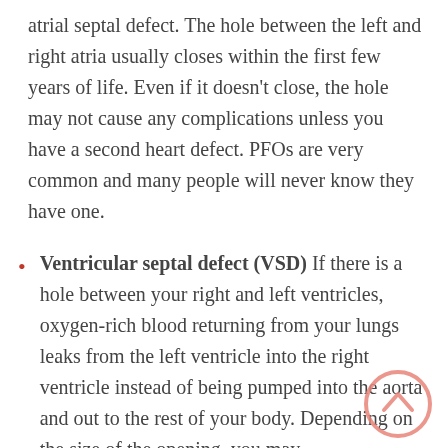atrial septal defect. The hole between the left and right atria usually closes within the first few years of life. Even if it doesn't close, the hole may not cause any complications unless you have a second heart defect. PFOs are very common and many people will never know they have one.
Ventricular septal defect (VSD) If there is a hole between your right and left ventricles, oxygen-rich blood returning from your lungs leaks from the left ventricle into the right ventricle instead of being pumped into the aorta and out to the rest of your body. Depending on the size of the opening, you may